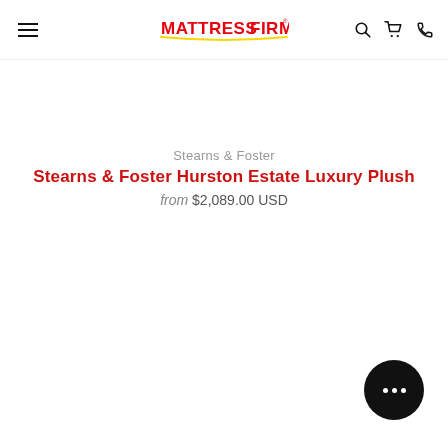MattressFirm navigation header with hamburger menu, logo, search, cart, and phone icons
Stearns & Foster
Stearns & Foster Hurston Estate Luxury Plush
from $2,089.00 USD
[Figure (other): Chat button with three dots, circular black button in bottom right corner]